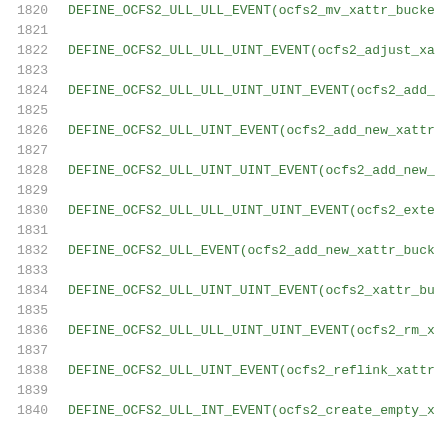1820    DEFINE_OCFS2_ULL_ULL_EVENT(ocfs2_mv_xattr_bucke
1821
1822    DEFINE_OCFS2_ULL_ULL_UINT_EVENT(ocfs2_adjust_xa
1823
1824    DEFINE_OCFS2_ULL_ULL_UINT_UINT_EVENT(ocfs2_add_
1825
1826    DEFINE_OCFS2_ULL_UINT_EVENT(ocfs2_add_new_xattr
1827
1828    DEFINE_OCFS2_ULL_UINT_UINT_EVENT(ocfs2_add_new_
1829
1830    DEFINE_OCFS2_ULL_ULL_UINT_UINT_EVENT(ocfs2_exte
1831
1832    DEFINE_OCFS2_ULL_EVENT(ocfs2_add_new_xattr_buck
1833
1834    DEFINE_OCFS2_ULL_UINT_UINT_EVENT(ocfs2_xattr_bu
1835
1836    DEFINE_OCFS2_ULL_ULL_UINT_UINT_EVENT(ocfs2_rm_x
1837
1838    DEFINE_OCFS2_ULL_UINT_EVENT(ocfs2_reflink_xattr
1839
1840    DEFINE_OCFS2_ULL_INT_EVENT(ocfs2_create_empty_x